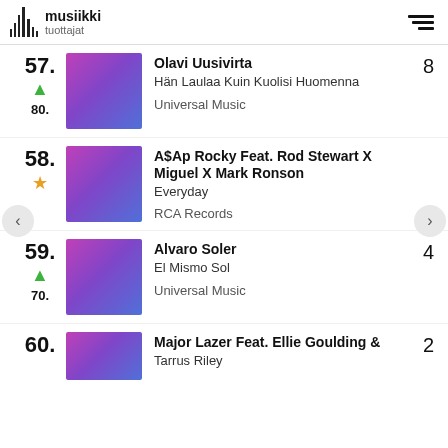musiikki tuottajat
57. Olavi Uusivirta — Hän Laulaa Kuin Kuolisi Huomenna — Universal Music — weeks: 8 — prev: 80
58. A$Ap Rocky Feat. Rod Stewart X Miguel X Mark Ronson — Everyday — RCA Records — new entry (star)
59. Alvaro Soler — El Mismo Sol — Universal Music — weeks: 4 — prev: 70
60. Major Lazer Feat. Ellie Goulding & Tarrus Riley — weeks: 2 (partial)